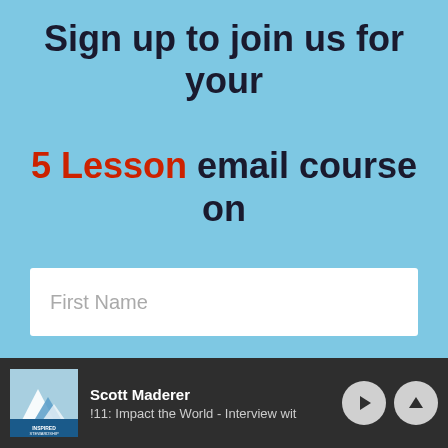Sign up to join us for your 5 Lesson email course on Stewarding Your Time!
[Figure (screenshot): Text input field with placeholder 'First Name' on a light blue background]
[Figure (screenshot): Podcast player footer bar showing 'Scott Maderer' and episode '!11: Impact the World - Interview wit' with play and up arrow controls and Inspired Stewardship logo]